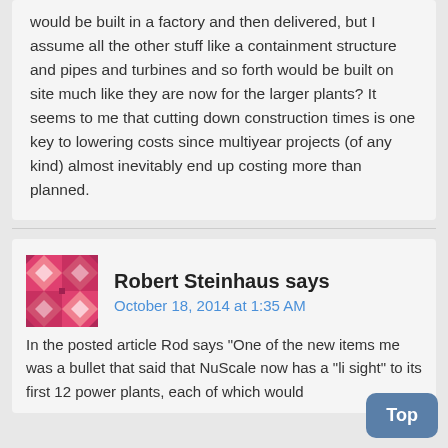would be built in a factory and then delivered, but I assume all the other stuff like a containment structure and pipes and turbines and so forth would be built on site much like they are now for the larger plants? It seems to me that cutting down construction times is one key to lowering costs since multiyear projects (of any kind) almost inevitably end up costing more than planned.
Robert Steinhaus says
October 18, 2014 at 1:35 AM
In the posted article Rod says "One of the new items me was a bullet that said that NuScale now has a "li sight" to its first 12 power plants, each of which would